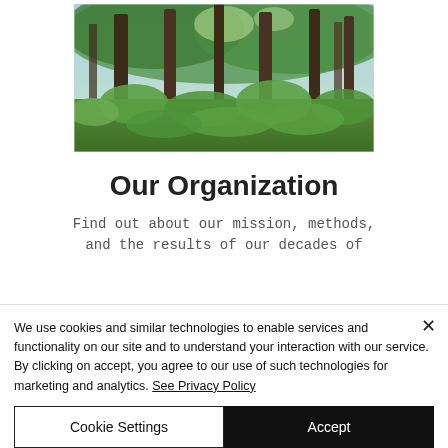[Figure (photo): A sunlit deciduous forest with tall trees and dense green undergrowth, viewed from ground level looking upward.]
Our Organization
Find out about our mission, methods, and the results of our decades of
We use cookies and similar technologies to enable services and functionality on our site and to understand your interaction with our service. By clicking on accept, you agree to our use of such technologies for marketing and analytics. See Privacy Policy
Cookie Settings
Accept